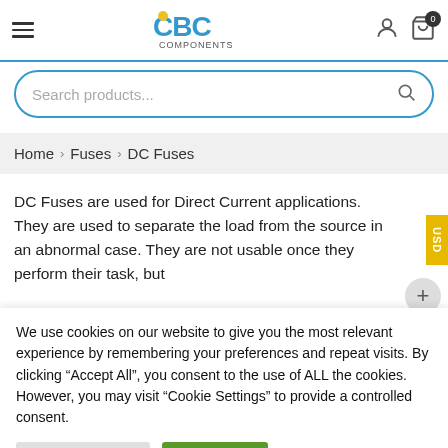CBC Components — Header with hamburger menu, logo, user icon, cart icon (0)
Search products...
Home > Fuses > DC Fuses
DC Fuses are used for Direct Current applications. They are used to separate the load from the source in an abnormal case. They are not usable once they perform their task, but
We use cookies on our website to give you the most relevant experience by remembering your preferences and repeat visits. By clicking "Accept All", you consent to the use of ALL the cookies. However, you may visit "Cookie Settings" to provide a controlled consent.
Cookie Settings
Accept All